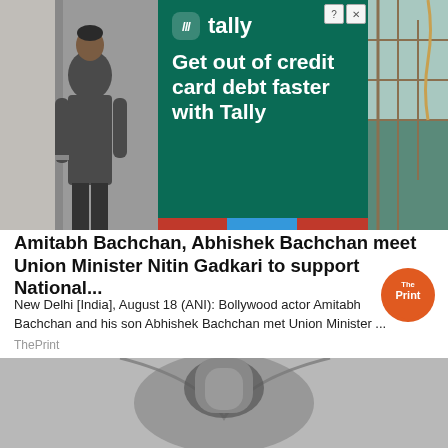[Figure (photo): Advertisement banner: Tally app ad with green background reading 'Get out of credit card debt faster with Tally', flanked by photos of a man on the left and a construction scene on the right.]
Amitabh Bachchan, Abhishek Bachchan meet Union Minister Nitin Gadkari to support National...
New Delhi [India], August 18 (ANI): Bollywood actor Amitabh Bachchan and his son Abhishek Bachchan met Union Minister ...
ThePrint
[Figure (photo): Bottom portion of news article page showing a partial photograph of what appears to be a vehicle interior or curved surface, gray tones.]